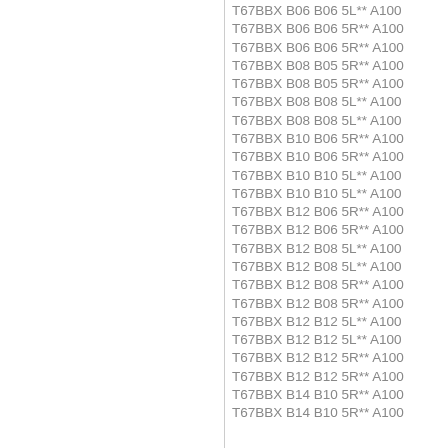T67BBX B06 B06 5L** A100
T67BBX B06 B06 5R** A100
T67BBX B06 B06 5R** A100
T67BBX B08 B05 5R** A100
T67BBX B08 B05 5R** A100
T67BBX B08 B08 5L** A100
T67BBX B08 B08 5L** A100
T67BBX B10 B06 5R** A100
T67BBX B10 B06 5R** A100
T67BBX B10 B10 5L** A100
T67BBX B10 B10 5L** A100
T67BBX B12 B06 5R** A100
T67BBX B12 B06 5R** A100
T67BBX B12 B08 5L** A100
T67BBX B12 B08 5L** A100
T67BBX B12 B08 5R** A100
T67BBX B12 B08 5R** A100
T67BBX B12 B12 5L** A100
T67BBX B12 B12 5L** A100
T67BBX B12 B12 5R** A100
T67BBX B12 B12 5R** A100
T67BBX B14 B10 5R** A100
T67BBX B14 B10 5R** A100